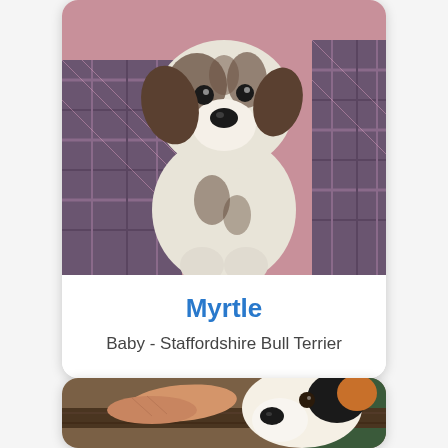[Figure (photo): A brindle and white puppy (Staffordshire Bull Terrier) held by a person wearing a plaid shirt, against a pink background]
Myrtle
Baby - Staffordshire Bull Terrier
[Figure (photo): A black and white adult dog resting its head and paws on a dark surface, with a person's hand visible and green and brown background]